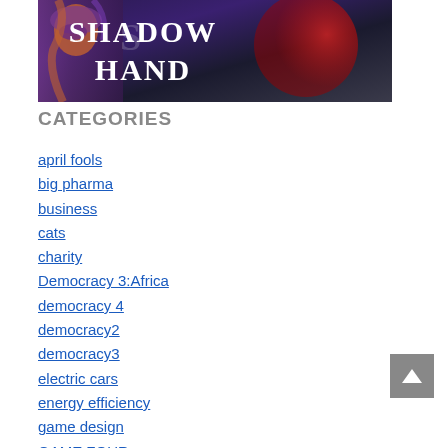[Figure (illustration): Shadowhand game banner image with a masked woman with auburn hair on the left, white decorative serif text reading SHADOW HAND in the center/right, and a dark atmospheric background with a large red circle element.]
CATEGORIES
april fools
big pharma
business
cats
charity
Democracy 3:Africa
democracy 4
democracy2
democracy3
electric cars
energy efficiency
game design
GAME FOUR